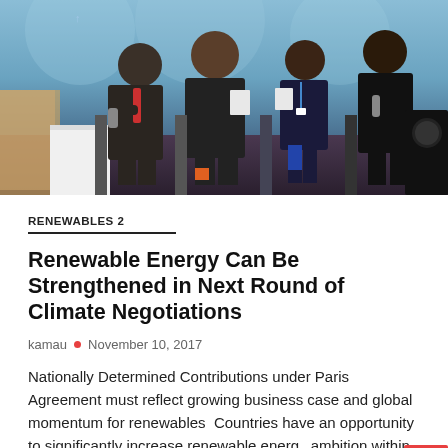[Figure (photo): Panel discussion at a conference with four people seated on stage, a blue patterned backdrop behind them, with audience visible from stage. Participants include men in suits and women in formal attire.]
RENEWABLES 2
Renewable Energy Can Be Strengthened in Next Round of Climate Negotiations
kamau • November 10, 2017
Nationally Determined Contributions under Paris Agreement must reflect growing business case and global momentum for renewables  Countries have an opportunity to significantly increase renewable energy ambition within Nationally Determined Contributions ...